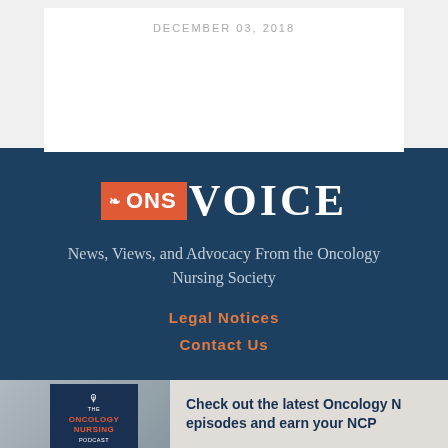DECEMBER 03, 2018
[Figure (logo): ONS VOICE logo — orange rectangle with 'ONS' text and leaf icon, followed by 'VOICE' in large white serif letters]
News, Views, and Advocacy From the Oncology Nursing Society
Legal Notices
Contact Us
[Figure (photo): Hand holding a smartphone showing The Oncology Nursing Podcast app icon, with text: Check out the latest Oncology N... episodes and earn your NCP...]